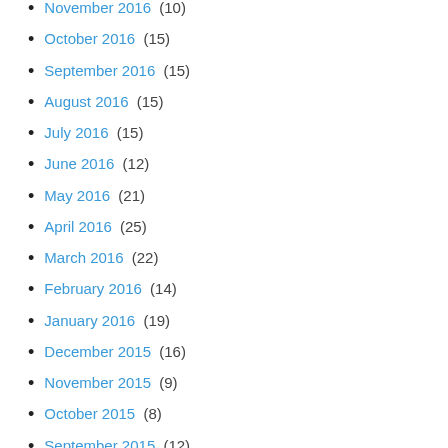November 2016 (10)
October 2016 (15)
September 2016 (15)
August 2016 (15)
July 2016 (15)
June 2016 (12)
May 2016 (21)
April 2016 (25)
March 2016 (22)
February 2016 (14)
January 2016 (19)
December 2015 (16)
November 2015 (9)
October 2015 (8)
September 2015 (12)
August 2015 (14)
July 2015 (17)